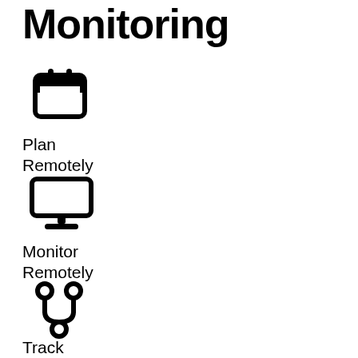Monitoring
[Figure (illustration): Calendar icon representing planning remotely]
Plan
Remotely
[Figure (illustration): Desktop monitor icon representing monitoring remotely]
Monitor
Remotely
[Figure (illustration): Git fork / network branch icon representing tracking remotely]
Track
Remotely